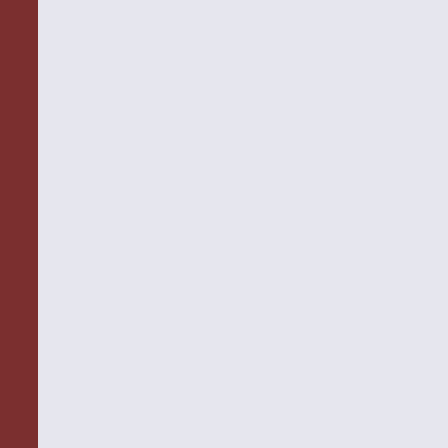behind, then this would make it vuln...
Recent events in the spring and summ... confirm these suspicions. But Anne B... authoritarian growth-oriented state wi... Meiji Japan, Franco's Spain, and Sout... these three countries 'would suggest th... will inevitably lead to demands for a s... guarantees a broad range of civil liber... In Indonesia, too, it is inevitable that ... the political system will then have to a... these challenges will determine not ju... millennium, but its very survival as a
These ominous words aptly describe a... after the KRISMON (monetary crisis ... down, and which will draw the world'... seems that a new 'decolonization' has ... perspective is recommended to read th...
Copyright (c) 1998 by EH.NET and H... for non-profit educational uses if prop... other permission, please contact the E... Telephone: 513-529-2850; Fax: 513-5...